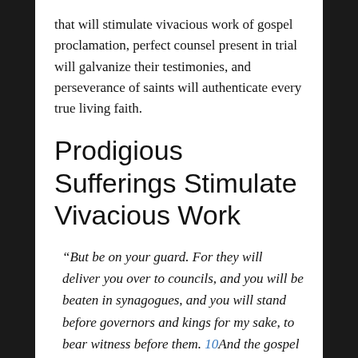that will stimulate vivacious work of gospel proclamation, perfect counsel present in trial will galvanize their testimonies, and perseverance of saints will authenticate every true living faith.
Prodigious Sufferings Stimulate Vivacious Work
“But be on your guard. For they will deliver you over to councils, and you will be beaten in synagogues, and you will stand before governors and kings for my sake, to bear witness before them. 10And the gospel must first be proclaimed to all nations. —Mark 13:9, 10
Christians should take care, circumventing